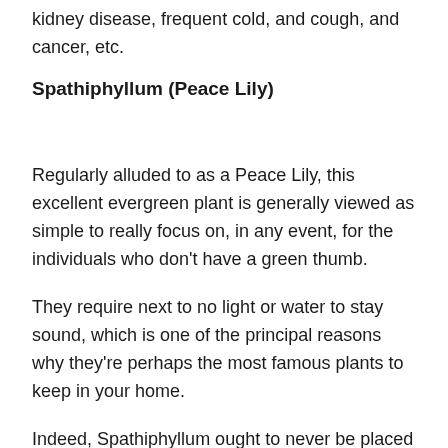kidney disease, frequent cold, and cough, and cancer, etc.
Spathiphyllum (Peace Lily)
Regularly alluded to as a Peace Lily, this excellent evergreen plant is generally viewed as simple to really focus on, in any event, for the individuals who don't have a green thumb.
They require next to no light or water to stay sound, which is one of the principal reasons why they're perhaps the most famous plants to keep in your home.
Indeed, Spathiphyllum ought to never be placed in direct sunlight, as the beams of the sun may prompt leaf consumption. While they are incredible to have inside your home, they additionally function admirably as a groundcover